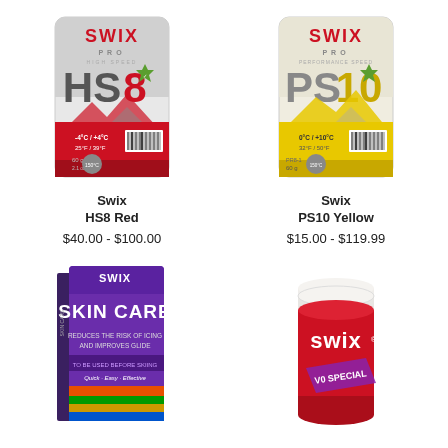[Figure (photo): Swix PRO High Speed HS8 Red ski wax block, 60g, grey and red packaging]
Swix
HS8 Red
$40.00 - $100.00
[Figure (photo): Swix PRO Performance Speed PS10 Yellow ski wax block, 60g, grey and yellow packaging]
Swix
PS10 Yellow
$15.00 - $119.99
[Figure (photo): Swix Skin Care product box, purple packaging with white text, reduces risk of icing and improves glide]
[Figure (photo): Swix V Special red kick wax tub with white lid]